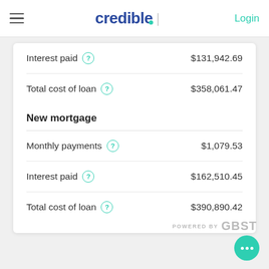credible | Login
Interest paid $131,942.69
Total cost of loan $358,061.47
New mortgage
Monthly payments $1,079.53
Interest paid $162,510.45
Total cost of loan $390,890.42
POWERED BY GBST